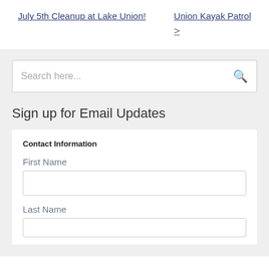July 5th Cleanup at Lake Union!
Union Kayak Patrol
>
Search here...
Sign up for Email Updates
Contact Information
First Name
Last Name